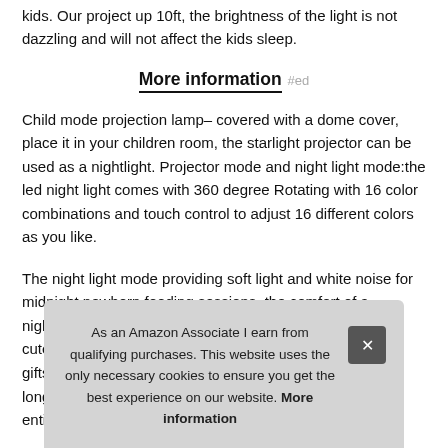kids. Our project up 10ft, the brightness of the light is not dazzling and will not affect the kids sleep.
More information #ed
Child mode projection lamp– covered with a dome cover, place it in your children room, the starlight projector can be used as a nightlight. Projector mode and night light mode:the led night light comes with 360 degree Rotating with 16 color combinations and touch control to adjust 16 different colors as you like.
The night light mode providing soft light and white noise for midnight newborn feeding sessions, the comfort of a nightlight for k... cute... gifts... long... enti...
As an Amazon Associate I earn from qualifying purchases. This website uses the only necessary cookies to ensure you get the best experience on our website. More information